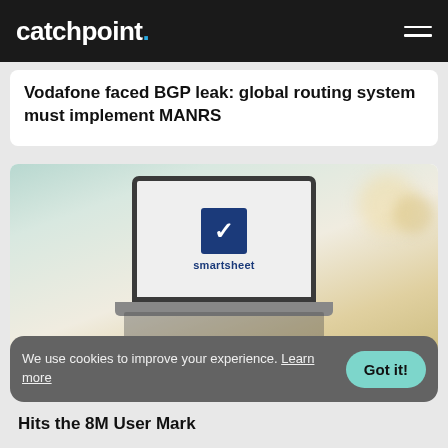catchpoint.
Vodafone faced BGP leak: global routing system must implement MANRS
[Figure (photo): Laptop computer displaying the Smartsheet logo (dark blue square with white checkmark above the word 'smartsheet') on screen, placed on a desk in a cafe-like environment with blurred background]
We use cookies to improve your experience. Learn more
Hits the 8M User Mark